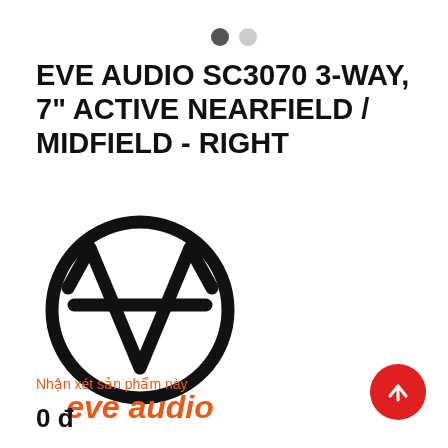[Figure (other): Two pagination dots: one dark grey filled, one light grey, indicating image carousel position]
EVE AUDIO SC3070 3-WAY, 7" ACTIVE NEARFIELD / MIDFIELD - RIGHT
[Figure (logo): EVE Audio logo: circular black ring with stylized 'EVE' letterform inside, and 'eve audio' text in orange below]
Nhận xét sản phẩm này
0 đ